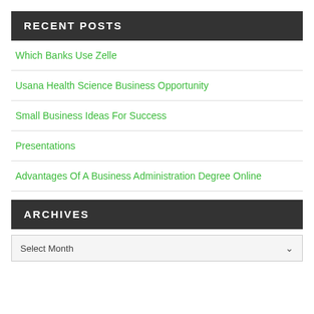RECENT POSTS
Which Banks Use Zelle
Usana Health Science Business Opportunity
Small Business Ideas For Success
Presentations
Advantages Of A Business Administration Degree Online
ARCHIVES
Select Month